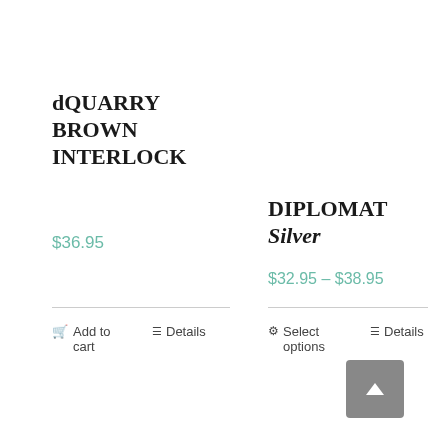dQUARRY BROWN INTERLOCK
$36.95
DIPLOMAT Silver
$32.95 – $38.95
Add to cart
Details
Select options
Details